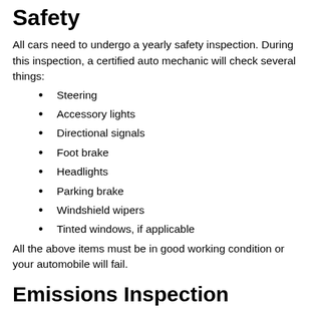Safety
All cars need to undergo a yearly safety inspection. During this inspection, a certified auto mechanic will check several things:
Steering
Accessory lights
Directional signals
Foot brake
Headlights
Parking brake
Windshield wipers
Tinted windows, if applicable
All the above items must be in good working condition or your automobile will fail.
Emissions Inspection